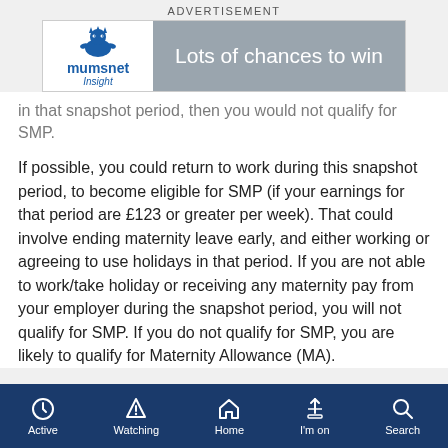ADVERTISEMENT
[Figure (other): Mumsnet Insight advertisement banner — logo on left with cartoon creature, grey section on right reading 'Lots of chances to win']
in that snapshot period, then you would not qualify for SMP.
If possible, you could return to work during this snapshot period, to become eligible for SMP (if your earnings for that period are £123 or greater per week). That could involve ending maternity leave early, and either working or agreeing to use holidays in that period. If you are not able to work/take holiday or receiving any maternity pay from your employer during the snapshot period, you will not qualify for SMP. If you do not qualify for SMP, you are likely to qualify for Maternity Allowance (MA).
Active  Watching  Home  I'm on  Search